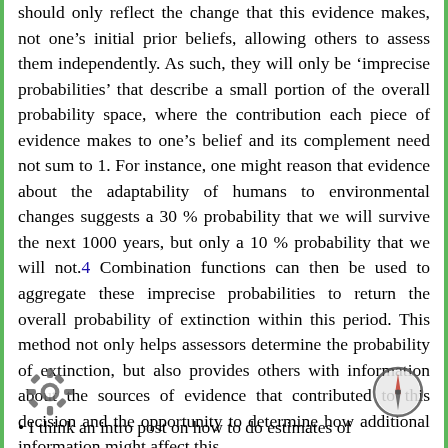should only reflect the change that this evidence makes, not one's initial prior beliefs, allowing others to assess them independently. As such, they will only be 'imprecise probabilities' that describe a small portion of the overall probability space, where the contribution each piece of evidence makes to one's belief and its complement need not sum to 1. For instance, one might reason that evidence about the adaptability of humans to environmental changes suggests a 30 % probability that we will survive the next 1000 years, but only a 10 % probability that we will not.4 Combination functions can then be used to aggregate these imprecise probabilities to return the overall probability of extinction within this period. This method not only helps assessors determine the probability of extinction, but also provides others with information about the sources of evidence that contributed to this decision and the opportunity to determine how additional information might affect this.
• I think an intro post on how to do estimates of